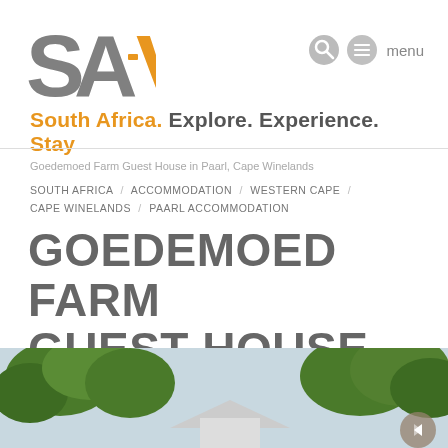SA-V
South Africa. Explore. Experience. Stay
Goedemoed Farm Guest House in Paarl, Cape Winelands
SOUTH AFRICA / ACCOMMODATION / WESTERN CAPE / CAPE WINELANDS / PAARL ACCOMMODATION
GOEDEMOED FARM GUEST HOUSE
[Figure (photo): Exterior photo of Goedemoed Farm Guest House showing a white building roof visible through large green trees against a light blue sky, with a small circular navigation button in the bottom right corner]